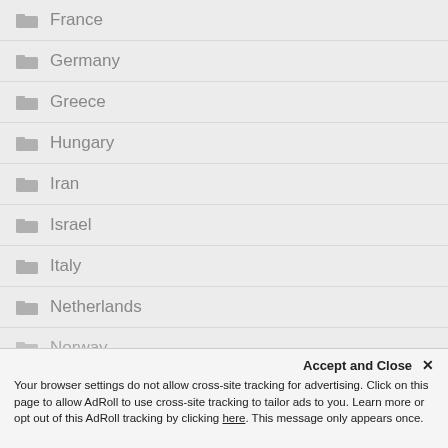France
Germany
Greece
Hungary
Iran
Israel
Italy
Netherlands
Norway
Accept and Close ✕  Your browser settings do not allow cross-site tracking for advertising. Click on this page to allow AdRoll to use cross-site tracking to tailor ads to you. Learn more or opt out of this AdRoll tracking by clicking here. This message only appears once.